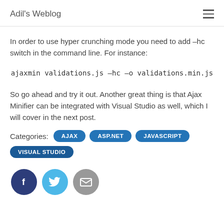Adil's Weblog
In order to use hyper crunching mode you need to add –hc switch in the command line. For instance:
ajaxmin validations.js –hc –o validations.min.js
So go ahead and try it out. Another great thing is that Ajax Minifier can be integrated with Visual Studio as well, which I will cover in the next post.
Categories: AJAX  ASP.NET  JAVASCRIPT  VISUAL STUDIO
[Figure (infographic): Social share buttons: Facebook (dark blue circle with f icon), Twitter (light blue circle with bird icon), Email (grey circle with envelope icon)]